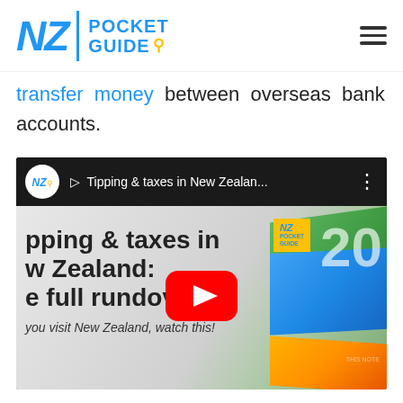NZ Pocket Guide
transfer money between overseas bank accounts.
[Figure (screenshot): YouTube video embed showing 'Tipping & taxes in New Zealand: the full rundown' video thumbnail with NZ Pocket Guide branding, a red YouTube play button, and New Zealand currency notes in the background. Bottom caption reads 'you visit New Zealand, watch this!']